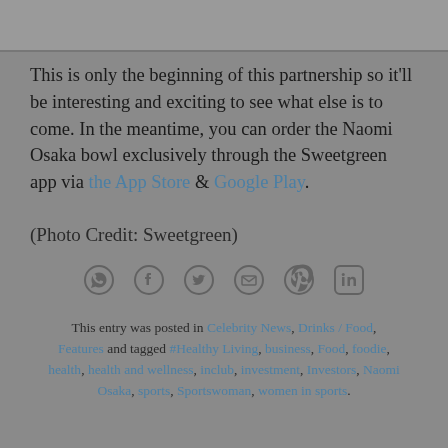[Figure (other): Partial image visible at top of page, partially cropped]
This is only the beginning of this partnership so it'll be interesting and exciting to see what else is to come. In the meantime, you can order the Naomi Osaka bowl exclusively through the Sweetgreen app via the App Store & Google Play.
(Photo Credit: Sweetgreen)
[Figure (other): Row of social share icons: WhatsApp, Facebook, Twitter, Email, Pinterest, LinkedIn]
This entry was posted in Celebrity News, Drinks / Food, Features and tagged #Healthy Living, business, Food, foodie, health, health and wellness, inclub, investment, Investors, Naomi Osaka, sports, Sportswoman, women in sports.